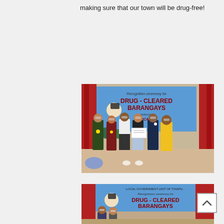making sure that our town will be drug-free!
[Figure (photo): Group photo at a Recognition ceremony for Drug-Cleared Barangays event. Several people wearing masks and medals stand on a stage in front of a banner reading 'Recognition ceremony for DRUG-CLEARED BARANGAYS' with red curtains in the background. A woman in the center holds a certificate.]
[Figure (photo): Partial view of another Recognition ceremony for Drug-Cleared Barangays with LOCAL GOVERNMENT UNIT OF TINAPU... banner visible. People in masks visible at bottom of frame.]